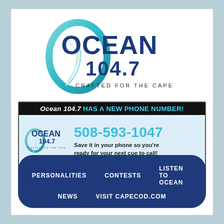[Figure (logo): Ocean 104.7 radio station logo with teal circular wave graphic and text 'OCEAN 104.7 CRAFTED FOR THE CAPE']
[Figure (infographic): Banner announcing Ocean 104.7 has a new phone number: 508-593-1047. Black header bar with white and cyan text. Light blue body with station logo on left and phone number in large cyan text on right. Subtext: 'Save it in your phone so you're ready for your next cue to call!']
PERSONALITIES
CONTESTS
LISTEN TO OCEAN
NEWS
VISIT CAPECOD.COM